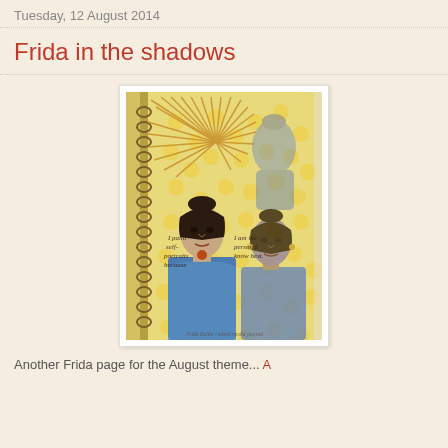Tuesday, 12 August 2014
Frida in the shadows
[Figure (photo): An art journal spread showing two painted portraits of Frida Kahlo against a yellow polka-dot and blue stenciled background, with handwritten text, on a spiral-bound notebook.]
Another Frida page for the August theme...